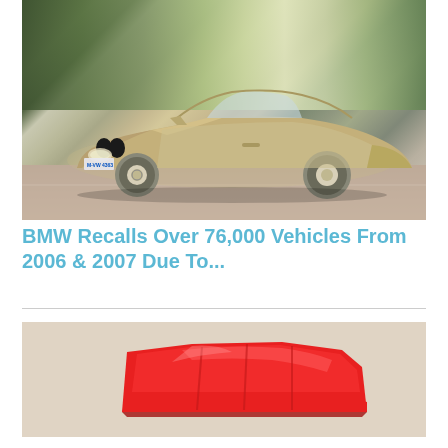[Figure (photo): A silver/gold BMW 3 Series convertible (plate M-VW 4363) driving on a road with blurred green background, top-down, motion blur effect]
BMW Recalls Over 76,000 Vehicles From 2006 & 2007 Due To...
[Figure (photo): A bright red automotive part or car cover component photographed on a light beige/cream background]